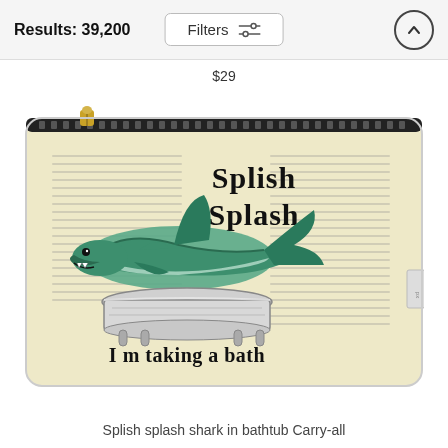Results: 39,200  Filters
$29
[Figure (photo): A zippered carry-all pouch with a vintage dictionary page background. A teal/green shark sits in an old-fashioned claw-foot bathtub. Text on the pouch reads 'Splish Splash I m taking a bath'. The pouch has a gold zipper.]
Splish splash shark in bathtub Carry-all